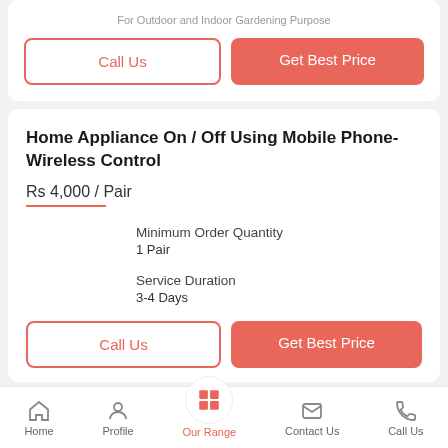For Outdoor and Indoor Gardening Purpose
Call Us | Get Best Price
Home Appliance On / Off Using Mobile Phone-Wireless Control
Rs 4,000 / Pair
Minimum Order Quantity
1 Pair
Service Duration
3-4 Days
Call Us | Get Best Price
Home | Profile | Our Range | Contact Us | Call Us